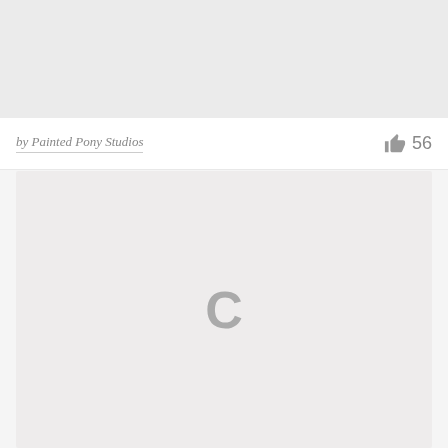[Figure (other): Gray placeholder image area at the top of the page]
by Painted Pony Studios  👍 56
[Figure (other): Content loading area with a gray spinner 'C' symbol in the center]